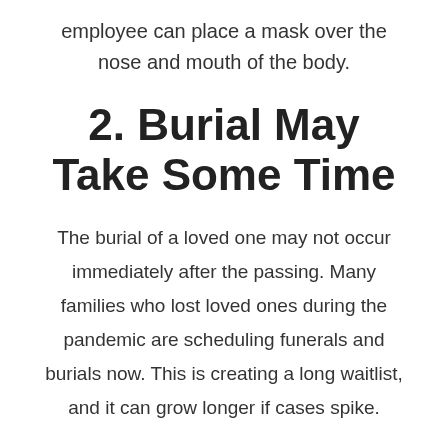employee can place a mask over the nose and mouth of the body.
2. Burial May Take Some Time
The burial of a loved one may not occur immediately after the passing. Many families who lost loved ones during the pandemic are scheduling funerals and burials now. This is creating a long waitlist, and it can grow longer if cases spike.
Even if waitlists are short, an immediate burial